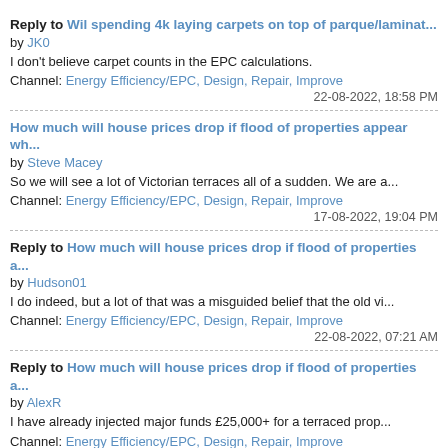Reply to Wil spending 4k laying carpets on top of parque/laminat... by JK0
I don't believe carpet counts in the EPC calculations.
Channel: Energy Efficiency/EPC, Design, Repair, Improve
22-08-2022, 18:58 PM
How much will house prices drop if flood of properties appear wh... by Steve Macey
So we will see a lot of Victorian terraces all of a sudden. We are a...
Channel: Energy Efficiency/EPC, Design, Repair, Improve
17-08-2022, 19:04 PM
Reply to How much will house prices drop if flood of properties a... by Hudson01
I do indeed, but a lot of that was a misguided belief that the old vi...
Channel: Energy Efficiency/EPC, Design, Repair, Improve
22-08-2022, 07:21 AM
Reply to How much will house prices drop if flood of properties a... by AlexR
I have already injected major funds £25,000+ for a terraced prop...
Channel: Energy Efficiency/EPC, Design, Repair, Improve
21-08-2022, 21:22 PM